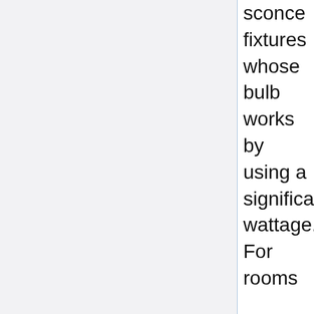sconce fixtures whose bulb works by using a significant wattage. For rooms